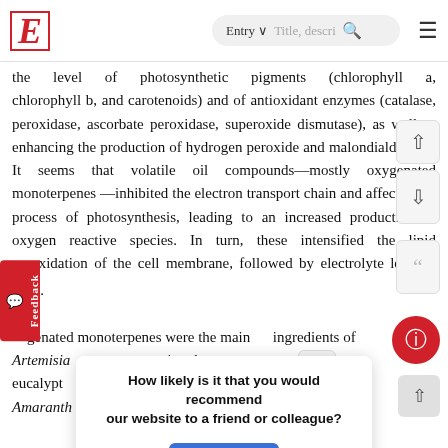E — Entry — Title, description search
the level of photosynthetic pigments (chlorophyll a, chlorophyll b, and carotenoids) and of antioxidant enzymes (catalase, peroxidase, ascorbate peroxidase, superoxide dismutase), as well as enhancing the production of hydrogen peroxide and malondialdehyde. It seems that volatile oil compounds—mostly oxygenated monoterpenes—inhibited the electron transport chain and affected the process of photosynthesis, leading to an increased production of oxygen reactive species. In turn, these intensified the lipid peroxidation of the cell membrane, followed by electrolyte leakage [126].
Oxygenated monoterpenes were the main ingredients of Artemisia [4] and eucalyptus ... of Amaranth... nua, and Dacina...